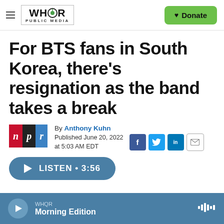WHQR PUBLIC MEDIA / Donate
For BTS fans in South Korea, there's resignation as the band takes a break
By Anthony Kuhn
Published June 20, 2022 at 5:03 AM EDT
WHQR Morning Edition